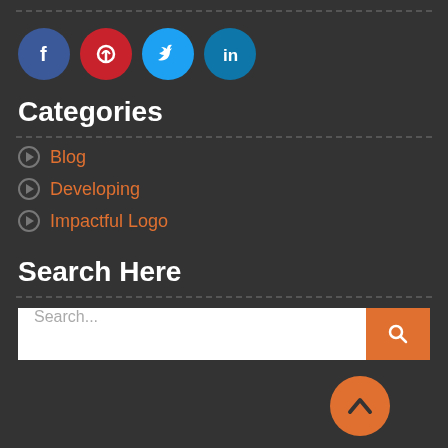[Figure (illustration): Social media icons: Facebook (blue circle), Pinterest (red circle), Twitter (light blue circle), LinkedIn (teal circle)]
Categories
Blog
Developing
Impactful Logo
Search Here
[Figure (other): Search input field with placeholder 'Search...' and an orange search button with magnifying glass icon]
[Figure (other): Orange circular back-to-top button with an upward chevron icon]